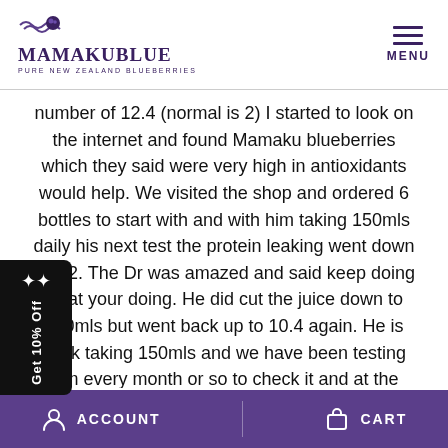MamakuBlue - Pure New Zealand Blueberries | MENU
number of 12.4 (normal is 2) I started to look on the internet and found Mamaku blueberries which they said were very high in antioxidants would help. We visited the shop and ordered 6 bottles to start with and with him taking 150mls daily his next test the protein leaking went down to 4.2. The Dr was amazed and said keep doing what your doing. He did cut the juice down to 100mls but went back up to 10.4 again. He is back taking 150mls and we have been testing him every month or so to check it and at the moment is has gone down to 4.4. The kidney function has stayed at the same %. So we continue to monitor his kidneys. This product is very good and has so many benefits we were very pleased to have come across it and told a lot of friends and family
ACCOUNT | CART